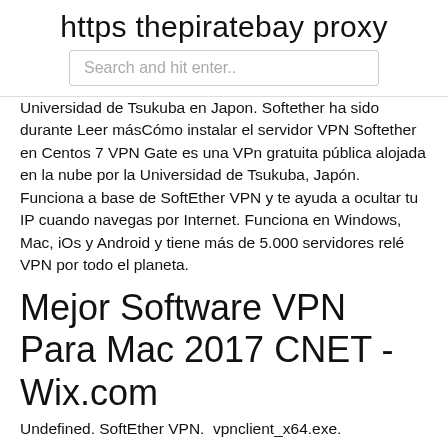https thepiratebay proxy
Search and hit enter..
Universidad de Tsukuba en Japon. Softether ha sido durante Leer másCómo instalar el servidor VPN Softether en Centos 7 VPN Gate es una VPn gratuita pública alojada en la nube por la Universidad de Tsukuba, Japón. Funciona a base de SoftEther VPN y te ayuda a ocultar tu IP cuando navegas por Internet. Funciona en Windows, Mac, iOs y Android y tiene más de 5.000 servidores relé VPN por todo el planeta.
Mejor Software VPN Para Mac 2017 CNET - Wix.com
Undefined. SoftEther VPN.  vpnclient_x64.exe.
Descargar vpn gate
It runs on Windows, Linux, Mac, FreeBSD and Solaris and is freeware and open-source. Also SoftEther VPN Client is native 64Bit and super easy to set up. So far this is the best free